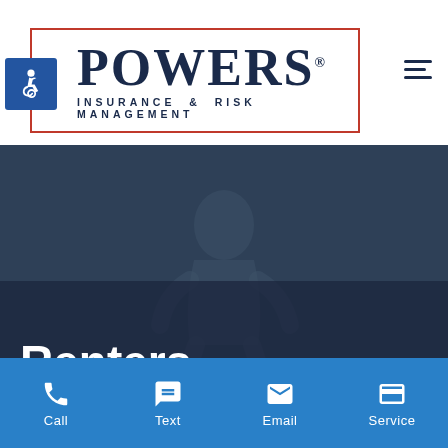[Figure (logo): Powers Insurance & Risk Management logo with red border box, large serif POWERS text with registered trademark symbol, and subtitle INSURANCE & RISK MANAGEMENT in spaced sans-serif. Blue accessibility icon at left.]
[Figure (photo): Dark blue-gray hero background image with faint silhouette of a person, overlaid dark panel at bottom showing partial heading text 'Renters']
Renters
[Figure (infographic): Blue bottom navigation bar with four icon+label items: Call (phone icon), Text (speech bubble icon), Email (envelope icon), Service (credit card icon)]